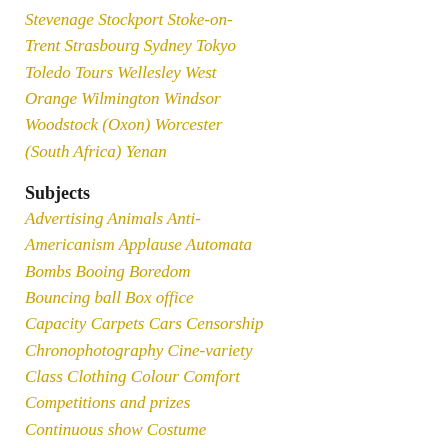Stevenage Stockport Stoke-on-Trent Strasbourg Sydney Tokyo Toledo Tours Wellesley West Orange Wilmington Windsor Woodstock (Oxon) Worcester (South Africa) Yenan
Subjects
Advertising Animals Anti-Americanism Applause Automata Bombs Booing Boredom Bouncing ball Box office Capacity Carpets Cars Censorship Chronophotography Cine-variety Class Clothing Colour Comfort Competitions and prizes Continuous show Costume Credits Crime Crying Curtains